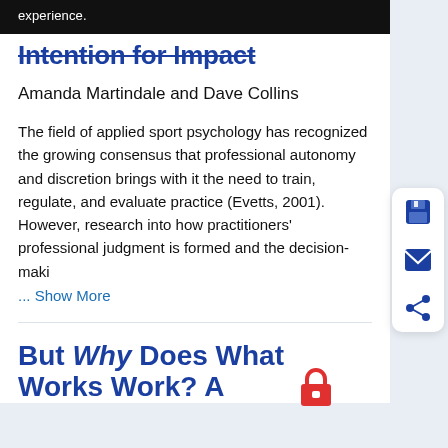experience.
Intention for Impact
Amanda Martindale and Dave Collins
The field of applied sport psychology has recognized the growing consensus that professional autonomy and discretion brings with it the need to train, regulate, and evaluate practice (Evetts, 2001). However, research into how practitioners' professional judgment is formed and the decision-maki
... Show More
But Why Does What Works Work? A